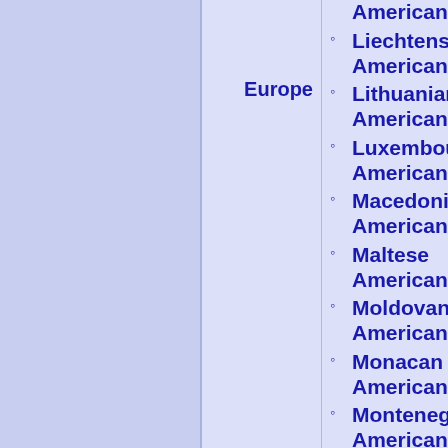Americans
Europe
Liechtensteinian Americans
Lithuanian Americans
Luxembourgian Americans
Macedonian Americans
Maltese Americans
Moldovan Americans
Monacan Americans
Montenegrin Americans
Norwegian Americans